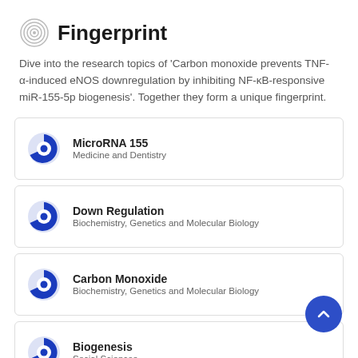Fingerprint
Dive into the research topics of 'Carbon monoxide prevents TNF-α-induced eNOS downregulation by inhibiting NF-κB-responsive miR-155-5p biogenesis'. Together they form a unique fingerprint.
MicroRNA 155 — Medicine and Dentistry
Down Regulation — Biochemistry, Genetics and Molecular Biology
Carbon Monoxide — Biochemistry, Genetics and Molecular Biology
Biogenesis — Social Sciences